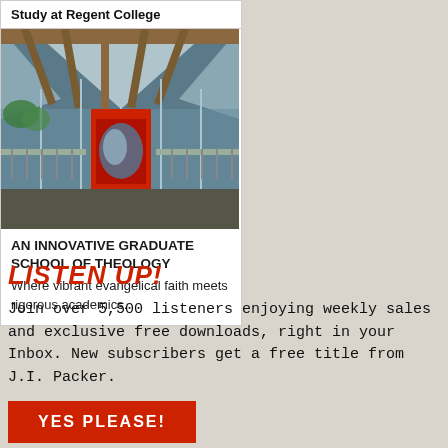Study at Regent College
[Figure (photo): Interior atrium of Regent College building with large skylights, wooden ceiling beams, glass walls, and a red accent wall with artwork.]
AN INNOVATIVE GRADUATE SCHOOL OF THEOLOGY
Where vibrant evangelical faith meets rigorous academics.
LISTEN UP!
Join over 5,500 listeners enjoying weekly sales and exclusive free downloads, right in your Inbox. New subscribers get a free title from J.I. Packer.
YES PLEASE!